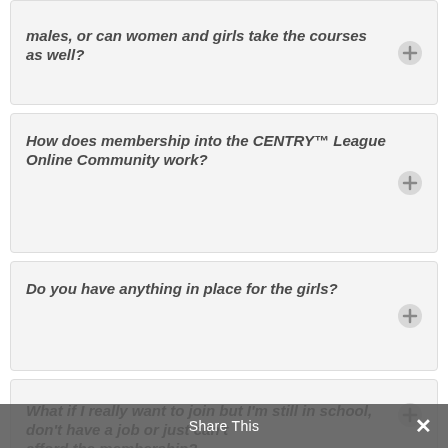males, or can women and girls take the courses as well?
How does membership into the CENTRY™ League Online Community work?
Do you have anything in place for the girls?
What if I really want to join but I'm still in school, don't have a job or just can't afford the membership?
Share This